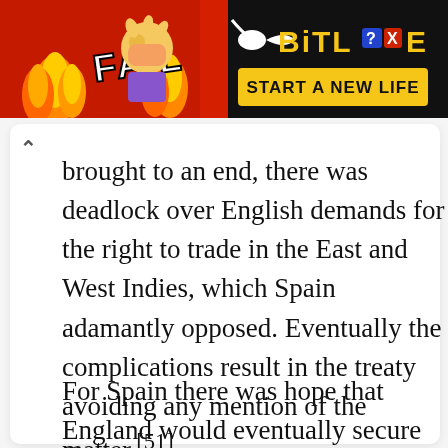[Figure (other): BitLife mobile game advertisement banner with red background, flame graphics, cartoon character facepalming, FAIL text, and 'START A NEW LIFE' tagline on black background]
brought to an end, there was deadlock over English demands for the right to trade in the East and West Indies, which Spain adamantly opposed. Eventually the complications resulted in the treaty avoiding any mention of the matter.[51]
For Spain there was hope that England would eventually secure tolerance for Catholics but the